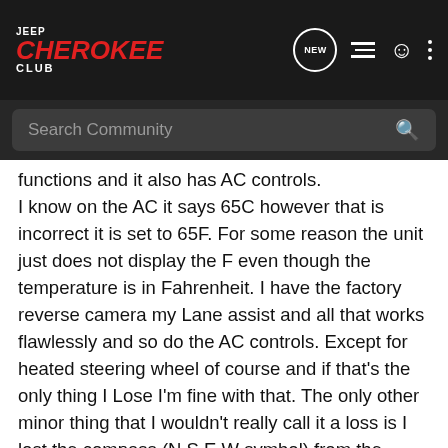Jeep Cherokee Club
Search Community
functions and it also has AC controls. I know on the AC it says 65C however that is incorrect it is set to 65F. For some reason the unit just does not display the F even though the temperature is in Fahrenheit. I have the factory reverse camera my Lane assist and all that works flawlessly and so do the AC controls. Except for heated steering wheel of course and if that's the only thing I Lose I'm fine with that. The only other minor thing that I wouldn't really call it a loss is I lost the compass (N,S,E W symbol) from the spedomitor. However the outside temperature remains in place and I have changed it to where the inside temperature displays in place of the compass
I still ha... ave only hac... I made
[Figure (screenshot): Pelican 45QT Wheeled Elite Cooler advertisement banner with SHOP NOW button]